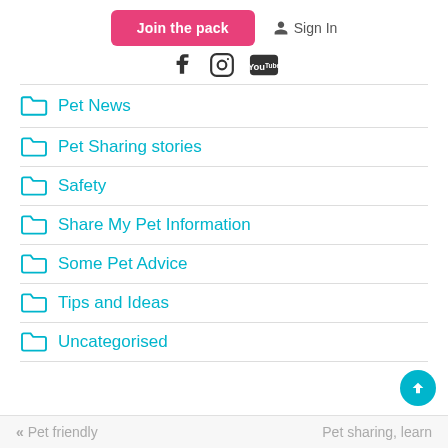[Figure (screenshot): Join the pack pink button and Sign In link at top]
[Figure (screenshot): Social media icons: Facebook, Instagram, YouTube]
Pet News
Pet Sharing stories
Safety
Share My Pet Information
Some Pet Advice
Tips and Ideas
Uncategorised
« Pet friendly   Pet sharing, learn